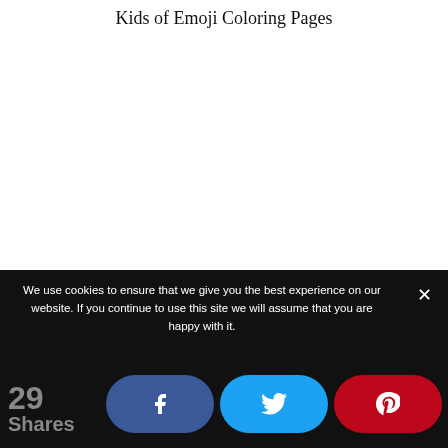Kids of Emoji Coloring Pages
We use cookies to ensure that we give you the best experience on our website. If you continue to use this site we will assume that you are happy with it.
[Figure (other): Social share bar with Facebook, Twitter, and Pinterest buttons, plus a share count of 29]